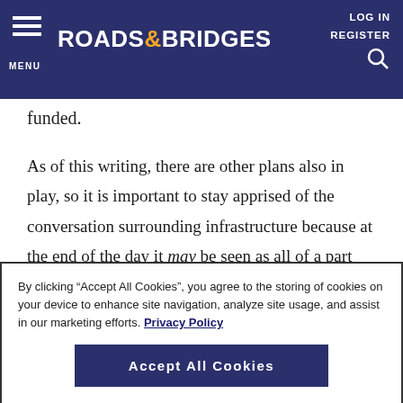MENU | ROADS&BRIDGES | LOG IN | REGISTER
funded.
As of this writing, there are other plans also in play, so it is important to stay apprised of the conversation surrounding infrastructure because at the end of the day it may be seen as all of a part with regard to the government’s approach to funding it, both now and potentially in the future.
By clicking “Accept All Cookies”, you agree to the storing of cookies on your device to enhance site navigation, analyze site usage, and assist in our marketing efforts. Privacy Policy
Accept All Cookies